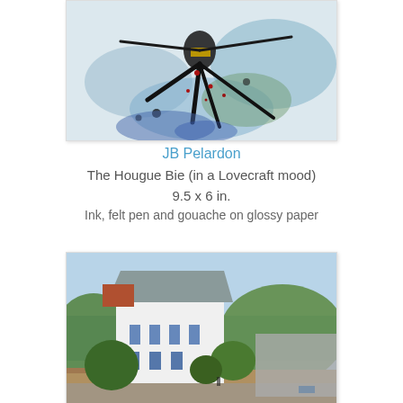[Figure (illustration): Abstract ink, felt pen and gouache artwork showing dark splattered forms against a light background with blue, green and red marks — 'The Hougue Bie (in a Lovecraft mood)' by JB Pelardon]
JB Pelardon
The Hougue Bie (in a Lovecraft mood)
9.5 x 6 in.
Ink, felt pen and gouache on glossy paper
[Figure (illustration): Impressionist-style painting of a white building with blue shutters, red-tiled roof, surrounded by green trees, with a blue sea visible in the background and a stone wall in the foreground]